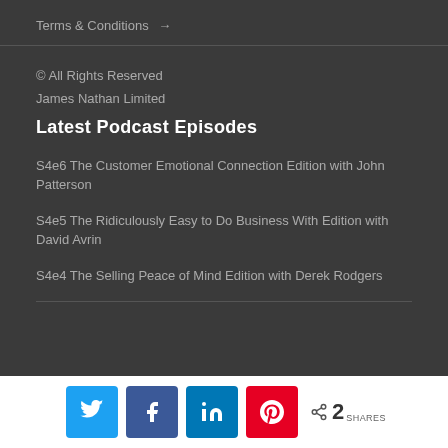Terms & Conditions →
© All Rights Reserved
James Nathan Limited
Latest Podcast Episodes
S4e6 The Customer Emotional Connection Edition with John Patterson
S4e5 The Ridiculously Easy to Do Business With Edition with David Avrin
S4e4 The Selling Peace of Mind Edition with Derek Rodgers
2 SHARES (social share buttons: Twitter, Facebook, LinkedIn, Pinterest)